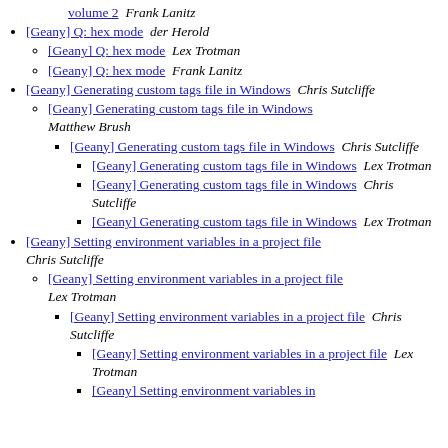volume 2  Frank Lanitz
[Geany] Q: hex mode  der Herold
[Geany] Q: hex mode  Lex Trotman
[Geany] Q: hex mode  Frank Lanitz
[Geany] Generating custom tags file in Windows  Chris Sutcliffe
[Geany] Generating custom tags file in Windows  Matthew Brush
[Geany] Generating custom tags file in Windows  Chris Sutcliffe
[Geany] Generating custom tags file in Windows  Lex Trotman
[Geany] Generating custom tags file in Windows  Chris Sutcliffe
[Geany] Generating custom tags file in Windows  Lex Trotman
[Geany] Setting environment variables in a project file  Chris Sutcliffe
[Geany] Setting environment variables in a project file  Lex Trotman
[Geany] Setting environment variables in a project file  Chris Sutcliffe
[Geany] Setting environment variables in a project file  Lex Trotman
[Geany] Setting environment variables in